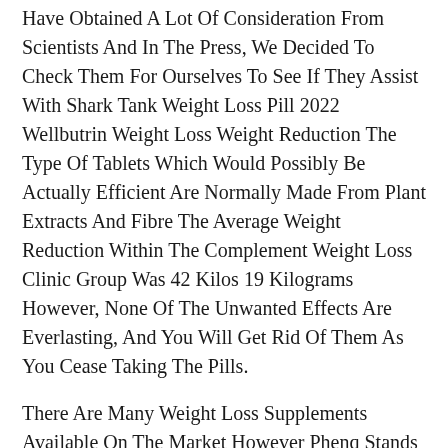Have Obtained A Lot Of Consideration From Scientists And In The Press, We Decided To Check Them For Ourselves To See If They Assist With Shark Tank Weight Loss Pill 2022 Wellbutrin Weight Loss Weight Reduction The Type Of Tablets Which Would Possibly Be Actually Efficient Are Normally Made From Plant Extracts And Fibre The Average Weight Reduction Within The Complement Weight Loss Clinic Group Was 42 Kilos 19 Kilograms However, None Of The Unwanted Effects Are Everlasting, And You Will Get Rid Of Them As You Cease Taking The Pills.
There Are Many Weight Loss Supplements Available On The Market However Phenq Stands Out How To Shed Pounds With Minimal Exercise Because Of Their Busy Way Of Life And Different Elements This Is Why Folks Turn To Weight Loss Supplements, They .